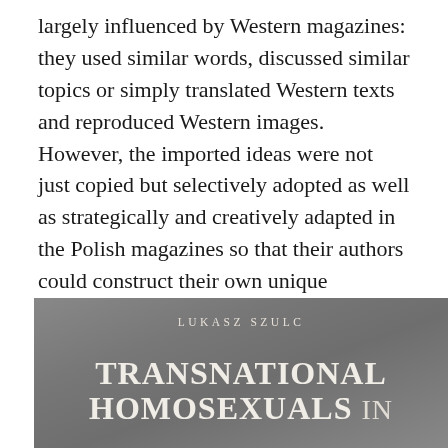largely influenced by Western magazines: they used similar words, discussed similar topics or simply translated Western texts and reproduced Western images. However, the imported ideas were not just copied but selectively adopted as well as strategically and creatively adapted in the Polish magazines so that their authors could construct their own unique identities and build their own original politics.
[Figure (illustration): Book cover with gray gradient background showing author name LUKASZ SZULC and book title TRANSNATIONAL HOMOSEXUALS IN in bold letters]